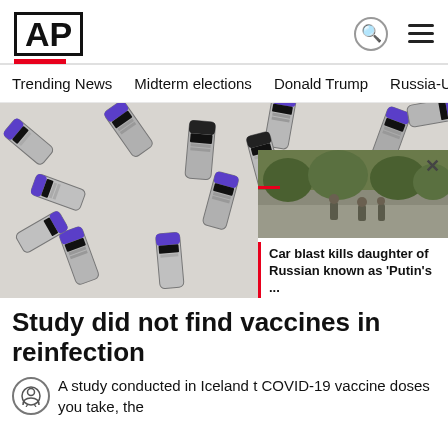[Figure (logo): AP (Associated Press) logo in bold black text inside a box, with red underline bar]
Trending News   Midterm elections   Donald Trump   Russia-Ukr
[Figure (photo): Multiple COVID-19 vaccine vials (silver with purple caps and black labels) scattered on a white surface, viewed from above]
[Figure (photo): Small overlay popup image showing soldiers crouching on a road, with a red bar and X close button]
Study did not find vaccines in reinfection
Car blast kills daughter of Russian known as 'Putin's ...
A study conducted in Iceland t COVID-19 vaccine doses you take, the